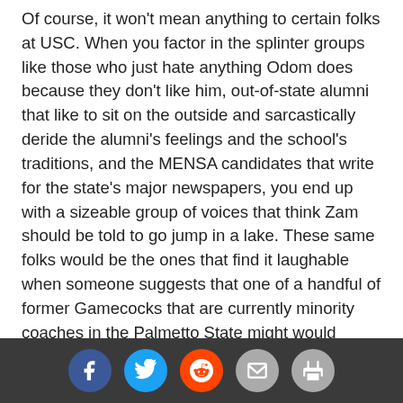Of course, it won't mean anything to certain folks at USC. When you factor in the splinter groups like those who just hate anything Odom does because they don't like him, out-of-state alumni that like to sit on the outside and sarcastically deride the alumni's feelings and the school's traditions, and the MENSA candidates that write for the state's major newspapers, you end up with a sizeable group of voices that think Zam should be told to go jump in a lake. These same folks would be the ones that find it laughable when someone suggests that one of a handful of former Gamecocks that are currently minority coaches in the Palmetto State might would make a great assistant under Odom and could help the school start moving within the AAU system. Zam has done nothing but be a loyal supporter of his alma mater even though he has gotten repeatedly kicked in the teeth, despite. The ha een times when Zam was passed over for...
[Figure (infographic): Social media sharing bar with Facebook, Twitter, Reddit, Email, and Print icons on a dark gray background]